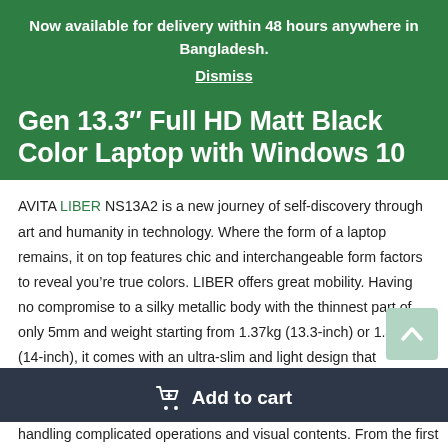Now available for delivery within 48 hours anywhere in Bangladesh.
Dismiss
Gen 13.3" Full HD Matt Black Color Laptop with Windows 10
AVITA LIBER NS13A2 is a new journey of self-discovery through art and humanity in technology. Where the form of a laptop remains, it on top features chic and interchangeable form factors to reveal you’re true colors. LIBER offers great mobility. Having no compromise to a silky metallic body with the thinnest part of only 5mm and weight starting from 1.37kg (13.3-inch) or 1.49kg (14-inch), it comes with an ultra-slim and light design that unburdens you on the go.
handling complicated operations and visual contents. From the first